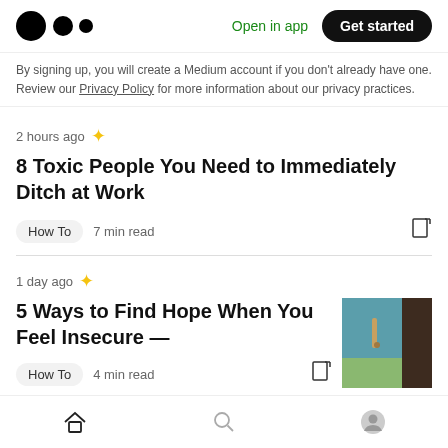Medium logo | Open in app | Get started
By signing up, you will create a Medium account if you don't already have one. Review our Privacy Policy for more information about our privacy practices.
2 hours ago ★
8 Toxic People You Need to Immediately Ditch at Work
How To   7 min read
1 day ago ★
5 Ways to Find Hope When You Feel Insecure —
How To   4 min read
Home | Search | Profile